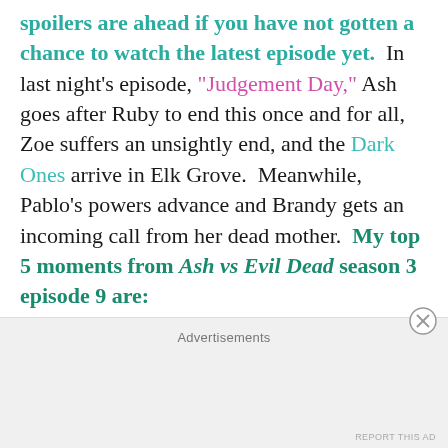spoilers are ahead if you have not gotten a chance to watch the latest episode yet. In last night's episode, "Judgement Day," Ash goes after Ruby to end this once and for all, Zoe suffers an unsightly end, and the Dark Ones arrive in Elk Grove. Meanwhile, Pablo's powers advance and Brandy gets an incoming call from her dead mother. My top 5 moments from Ash vs Evil Dead season 3 episode 9 are:
5
Advertisements